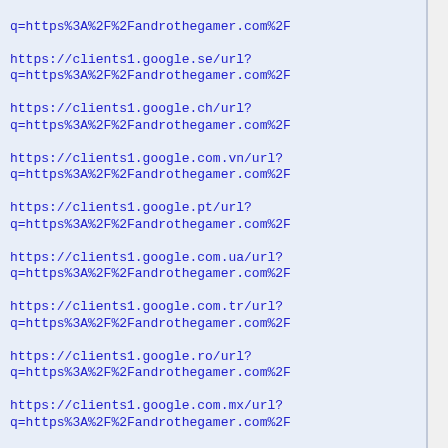q=https%3A%2F%2Fandrothegamer.com%2F
https://clients1.google.se/url?
q=https%3A%2F%2Fandrothegamer.com%2F
https://clients1.google.ch/url?
q=https%3A%2F%2Fandrothegamer.com%2F
https://clients1.google.com.vn/url?
q=https%3A%2F%2Fandrothegamer.com%2F
https://clients1.google.pt/url?
q=https%3A%2F%2Fandrothegamer.com%2F
https://clients1.google.com.ua/url?
q=https%3A%2F%2Fandrothegamer.com%2F
https://clients1.google.com.tr/url?
q=https%3A%2F%2Fandrothegamer.com%2F
https://clients1.google.ro/url?
q=https%3A%2F%2Fandrothegamer.com%2F
https://clients1.google.com.mx/url?
q=https%3A%2F%2Fandrothegamer.com%2F
https://clients1.google.dk/url?
q=https%3A%2F%2Fandrothegamer.com%2F
https://clients1.google.hu/url?
q=https%3A%2F%2Fandrothegamer.com%2F
https://clients1.google.com.ar/url?
q=https%3A%2F%2Fandrothegamer.com%2F
https://clients1.google.fi/url?
q=https%3A%2F%2Fandrothegamer.com%2F
https://clients1.google.co.il/url?
q=https%3A%2F%2Fandrothegamer.com%2F
https://clients1.google.co.nz/url?
q=https%3A%2F%2Fandrothegamer.com%2F
https://clients1.google.co.za/url?